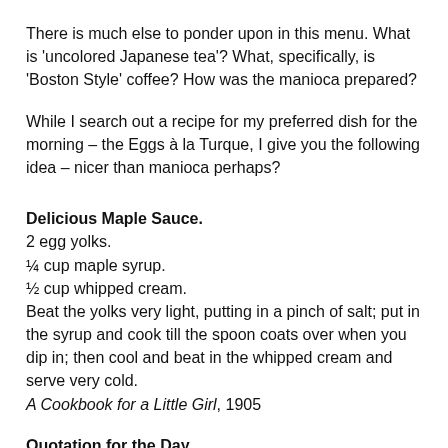There is much else to ponder upon in this menu. What is 'uncolored Japanese tea'? What, specifically, is 'Boston Style' coffee? How was the manioca prepared?
While I search out a recipe for my preferred dish for the morning – the Eggs à la Turque, I give you the following idea – nicer than manioca perhaps?
Delicious Maple Sauce.
2 egg yolks.
¼ cup maple syrup.
½ cup whipped cream.
Beat the yolks very light, putting in a pinch of salt; put in the syrup and cook till the spoon coats over when you dip in; then cool and beat in the whipped cream and serve very cold.
A Cookbook for a Little Girl, 1905
Quotation for the Day.